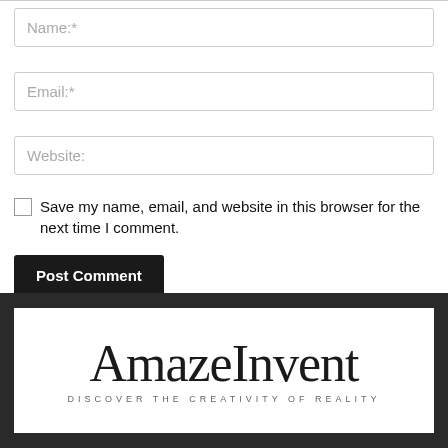Name:*
Email:*
Website:
Save my name, email, and website in this browser for the next time I comment.
Post Comment
[Figure (logo): AmazeInvent logo with tagline DISCOVER THE CREATIVITY OF REALITY on white background within dark footer]